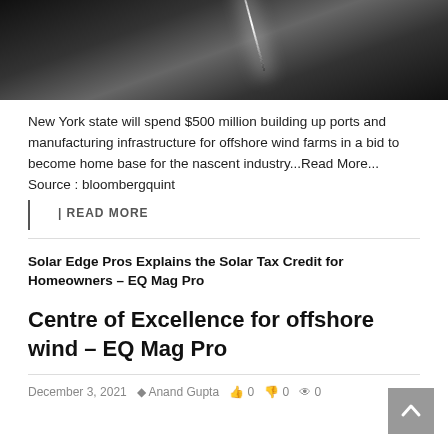[Figure (photo): Dark moody photo of a wind turbine pole or pier with light reflecting on water surface, black and white tones]
New York state will spend $500 million building up ports and manufacturing infrastructure for offshore wind farms in a bid to become home base for the nascent industry...Read More... Source : bloombergquint
| READ MORE
Solar Edge Pros Explains the Solar Tax Credit for Homeowners – EQ Mag Pro
Centre of Excellence for offshore wind – EQ Mag Pro
December 3, 2021   Anand Gupta   0   0   0